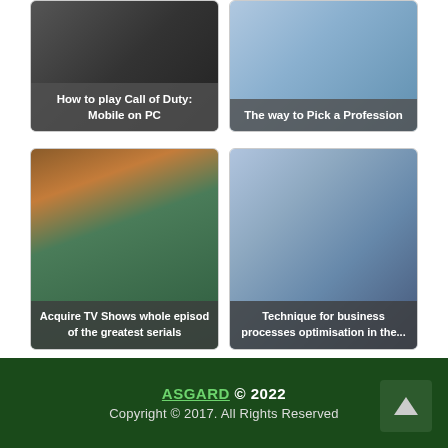[Figure (screenshot): Card: How to play Call of Duty: Mobile on PC]
[Figure (screenshot): Card: The way to Pick a Profession]
[Figure (photo): Card: Acquire TV Shows whole episod of the greatest serials - TV show audience photo]
[Figure (photo): Card: Technique for business processes optimisation in the... - tablet with charts photo]
Tags: imperialwicket
ASGARD © 2022
Copyright © 2017. All Rights Reserved